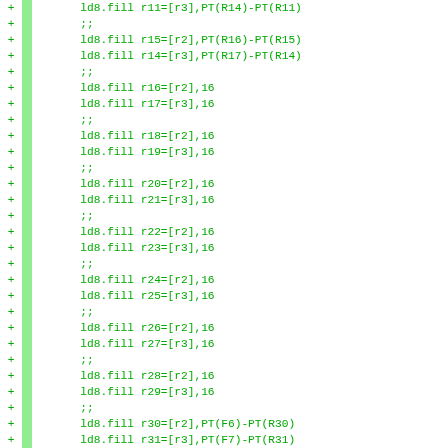Code diff showing assembly instructions with ld8.fill, rsm, and invala operations in IA-64 assembly language